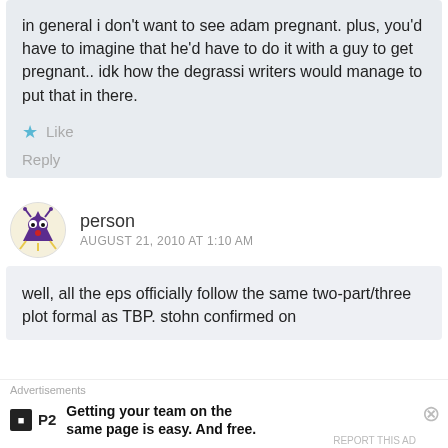in general i don't want to see adam pregnant. plus, you'd have to imagine that he'd have to do it with a guy to get pregnant.. idk how the degrassi writers would manage to put that in there.
Like
Reply
person
AUGUST 21, 2010 AT 1:10 AM
well, all the eps officially follow the same two-part/three plot formal as TBP. stohn confirmed on
Advertisements
Getting your team on the same page is easy. And free.